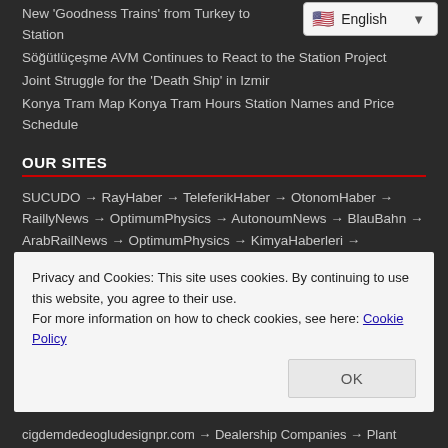New 'Goodness Trains' from Turkey to Station
Söğütlüçeşme AVM Continues to React to the Station Project
Joint Struggle for the 'Death Ship' in Izmir
Konya Tram Map Konya Tram Hours Station Names and Price Schedule
OUR SITES
SUCUDO → RayHaber → TeleferikHaber → OtonomHaber → RaillyNews → OptimumPhysics → AutonoumNews → BlauBahn → ArabRailNews → OptimumPhysics → KimyaHaberleri → BulmacaCevap → ZorBulmaca → LeventÖzen → EmlakHabercin → Political Academy → AEY → KadinGirisim → AnkaraYasam → HasanOngan → MediaHealthNews → TayHaber → AdanaMersin →
Privacy and Cookies: This site uses cookies. By continuing to use this website, you agree to their use.
For more information on how to check cookies, see here: Cookie Policy
cigdemdedeogludesignpr.com → Dealership Companies → Plant